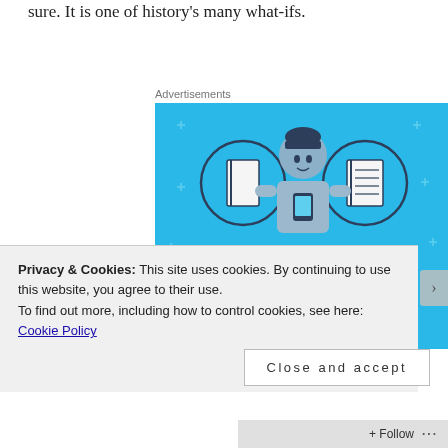sure. It is one of history's many what-ifs.
Advertisements
[Figure (illustration): Day One journaling app advertisement. Blue background with a cartoon person holding a phone, flanked by two circular icons showing notebooks. Text reads 'DAY ONE — The only journaling app you'll ever need.']
Privacy & Cookies: This site uses cookies. By continuing to use this website, you agree to their use.
To find out more, including how to control cookies, see here: Cookie Policy
Close and accept